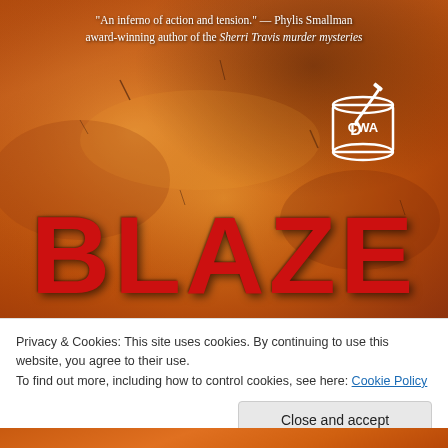[Figure (illustration): Book cover for 'BLAZE' showing a fiery orange/amber explosion or smoke background with the title 'BLAZE' in large bold red letters and a CWA (Crime Writers' Association) logo badge in the upper right corner]
"An inferno of action and tension." — Phylis Smallman award-winning author of the Sherri Travis murder mysteries
Privacy & Cookies: This site uses cookies. By continuing to use this website, you agree to their use.
To find out more, including how to control cookies, see here: Cookie Policy
Close and accept